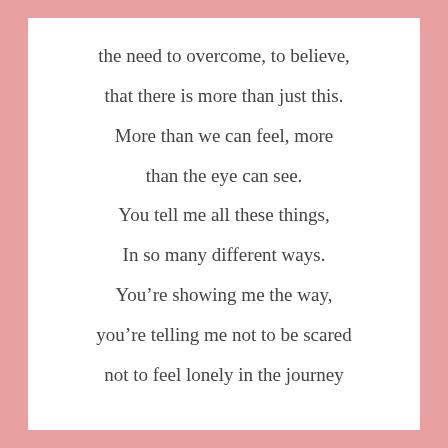the need to overcome, to believe,
that there is more than just this.
More than we can feel, more
than the eye can see.
You tell me all these things,
In so many different ways.
You’re showing me the way,
you’re telling me not to be scared
not to feel lonely in the journey